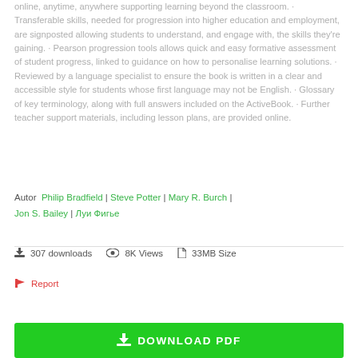online, anytime, anywhere supporting learning beyond the classroom. · Transferable skills, needed for progression into higher education and employment, are signposted allowing students to understand, and engage with, the skills they're gaining. · Pearson progression tools allows quick and easy formative assessment of student progress, linked to guidance on how to personalise learning solutions. · Reviewed by a language specialist to ensure the book is written in a clear and accessible style for students whose first language may not be English. · Glossary of key terminology, along with full answers included on the ActiveBook. · Further teacher support materials, including lesson plans, are provided online.
Autor: Philip Bradfield | Steve Potter | Mary R. Burch | Jon S. Bailey | Луи Фигье
307 downloads   8K Views   33MB Size
Report
DOWNLOAD PDF